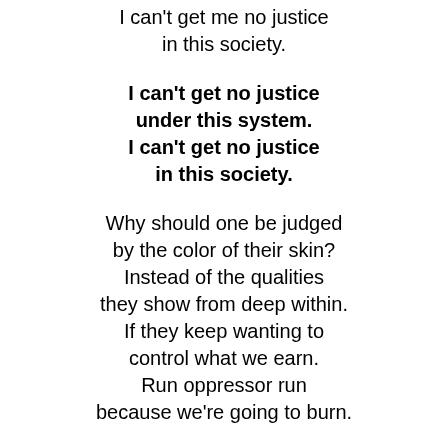I can't get me no justice
in this society.
I can't get no justice
under this system.
I can't get no justice
in this society.
Why should one be judged
by the color of their skin?
Instead of the qualities
they show from deep within.
If they keep wanting to
control what we earn.
Run oppressor run
because we're going to burn.
I can't get no justice
under this system.
I can't get me no justice